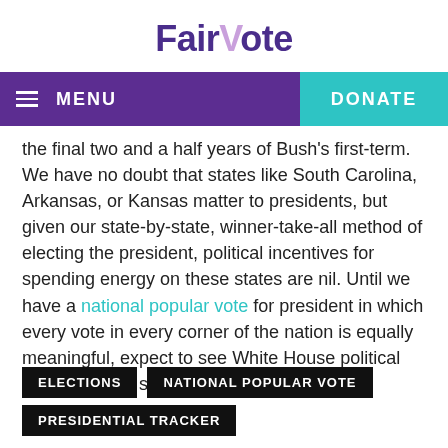FairVote
the final two and a half years of Bush's first-term. We have no doubt that states like South Carolina, Arkansas, or Kansas matter to presidents, but given our state-by-state, winner-take-all method of electing the president, political incentives for spending energy on these states are nil. Until we have a national popular vote for president in which every vote in every corner of the nation is equally meaningful, expect to see White House political teams making similar calculations.
ELECTIONS
NATIONAL POPULAR VOTE
PRESIDENTIAL TRACKER